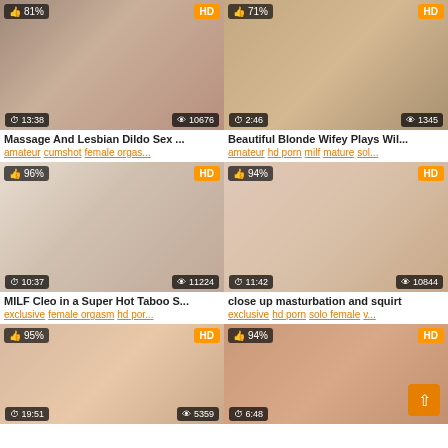[Figure (screenshot): Video thumbnail grid with 6 adult video thumbnails, each showing title, duration, view count, rating percentage, and HD badge]
Massage And Lesbian Dildo Sex ...
amateur cumshot female orgas...
Beautiful Blonde Wifey Plays Wil...
amateur hd porn milf mature sol...
MILF Cleo in a Super Hot Taboo S...
exclusive female orgasm hd por...
close up masturbation and squirt
exclusive hd porn solo female v...